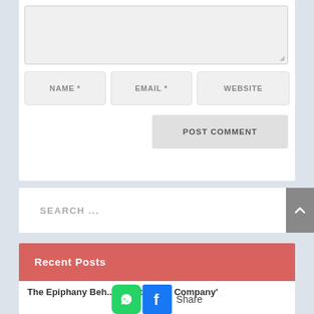[Figure (screenshot): Comment form textarea (greyed out, empty)]
NAME *
EMAIL *
WEBSITE
POST COMMENT
SEARCH ...
Recent Posts
The Epiphany Beh... T...asta Bowl Company'
Share